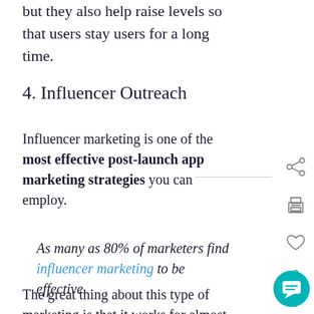but they also help raise levels so that users stay users for a long time.
4. Influencer Outreach
Influencer marketing is one of the most effective post-launch app marketing strategies you can employ.
As many as 80% of marketers find influencer marketing to be effective.
The great thing about this type of marketing is that it works for almost